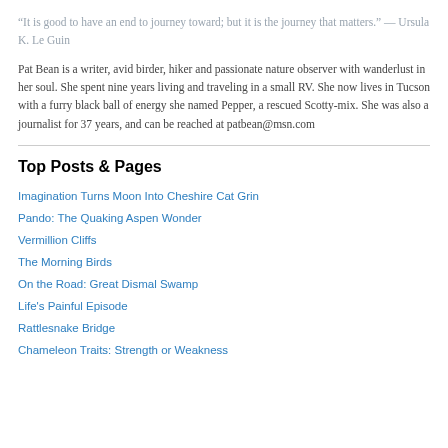“It is good to have an end to journey toward; but it is the journey that matters.” — Ursula K. Le Guin
Pat Bean is a writer, avid birder, hiker and passionate nature observer with wanderlust in her soul. She spent nine years living and traveling in a small RV. She now lives in Tucson with a furry black ball of energy she named Pepper, a rescued Scotty-mix. She was also a journalist for 37 years, and can be reached at patbean@msn.com
Top Posts & Pages
Imagination Turns Moon Into Cheshire Cat Grin
Pando: The Quaking Aspen Wonder
Vermillion Cliffs
The Morning Birds
On the Road: Great Dismal Swamp
Life's Painful Episode
Rattlesnake Bridge
Chameleon Traits: Strength or Weakness